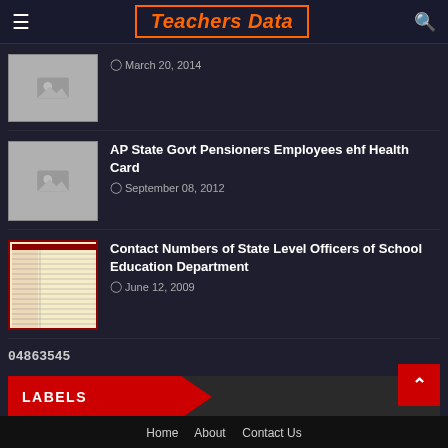Teachers Data
March 20, 2014
AP State Govt Pensioners Employees ehf Health Card
September 08, 2012
Contact Numbers of State Level Officers of School Education Department
June 12, 2009
04863545
LABELS
Home   About   Contact Us